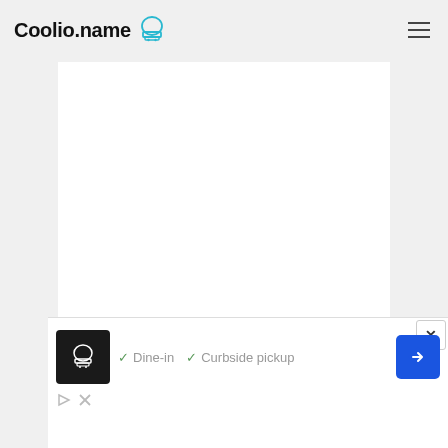Coolio.name
[Figure (screenshot): White content area placeholder]
[Figure (logo): mgid logo with play button icon]
[Figure (photo): Food photograph image strip at bottom of content area]
[Figure (screenshot): Advertisement popup showing chef icon, Dine-in and Curbside pickup checkmarks, navigation arrow icon, and close button]